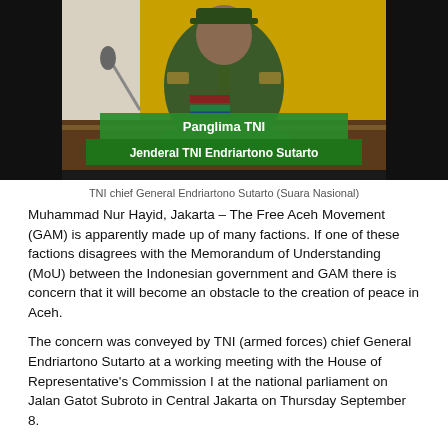[Figure (photo): A military officer in green uniform with medals and rank insignia sits at a desk. TV chyron overlay reads 'Panglima TNI' and 'Jenderal TNI Endriartono Sutarto' in green banner. Background shows yellow and white backdrop.]
TNI chief General Endriartono Sutarto (Suara Nasional)
Muhammad Nur Hayid, Jakarta – The Free Aceh Movement (GAM) is apparently made up of many factions. If one of these factions disagrees with the Memorandum of Understanding (MoU) between the Indonesian government and GAM there is concern that it will become an obstacle to the creation of peace in Aceh.
The concern was conveyed by TNI (armed forces) chief General Endriartono Sutarto at a working meeting with the House of Representative's Commission I at the national parliament on Jalan Gatot Subroto in Central Jakarta on Thursday September 8.